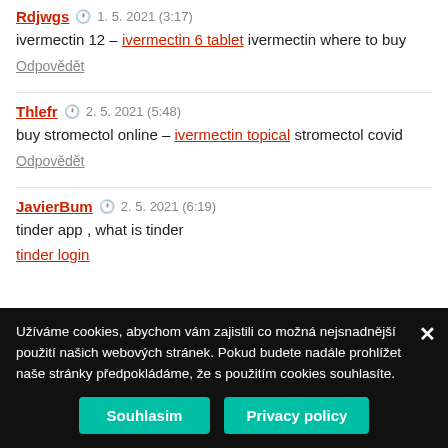Rdjwgs  1. 5. 2021 (3:17)
ivermectin 12 – ivermectin 6 tablet ivermectin where to buy
Odpovědět
Thlefr  2. 5. 2021 (5:48)
buy stromectol online – ivermectin topical stromectol covid
Odpovědět
JavierBum  2. 5. 2021 (6:19)
tinder app , what is tinder
tinder login
Užíváme cookies, abychom vám zajistili co možná nejsnadnější použití našich webových stránek. Pokud budete nadále prohlížet naše stránky předpokládáme, že s použitím cookies souhlasíte.
Souhlasim  Privacy policy